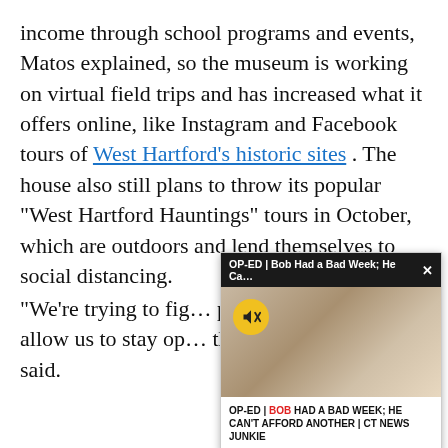income through school programs and events, Matos explained, so the museum is working on virtual field trips and has increased what it offers online, like Instagram and Facebook tours of West Hartford's historic sites . The house also still plans to throw its popular “West Hartford Hauntings” tours in October, which are outdoors and lend themselves to social distancing.
[Figure (screenshot): A popup overlay showing an op-ed video preview titled 'OP-ED | Bob Had a Bad Week; He Ca...' with a mute icon and caption 'OP-ED | BOB HAD A BAD WEEK; HE CAN’T AFFORD ANOTHER | CT NEWS JUNKIE']
“We’re trying to fig... programs that wil... allow us to stay op... that we’re doing t... said.